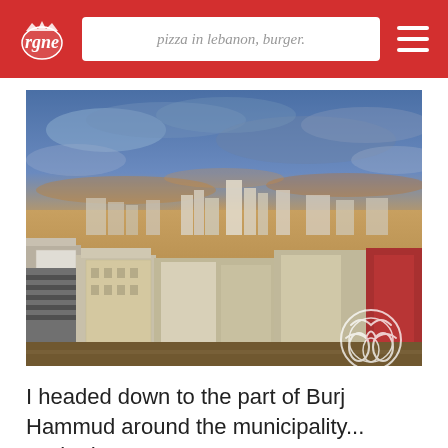pizza in lebanon, burger.
[Figure (photo): HDR aerial/elevated photograph of Beirut city skyline at sunset, showing dense urban buildings with a glowing orange and yellow sky with dramatic clouds, and a white decorative logo watermark in the bottom right corner.]
I headed down to the part of Burj Hammud around the municipality... Parked my car